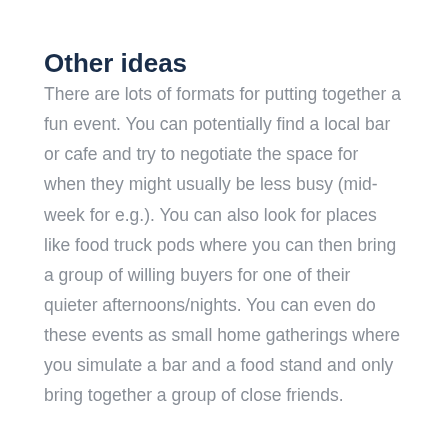Other ideas
There are lots of formats for putting together a fun event. You can potentially find a local bar or cafe and try to negotiate the space for when they might usually be less busy (mid-week for e.g.). You can also look for places like food truck pods where you can then bring a group of willing buyers for one of their quieter afternoons/nights. You can even do these events as small home gatherings where you simulate a bar and a food stand and only bring together a group of close friends.